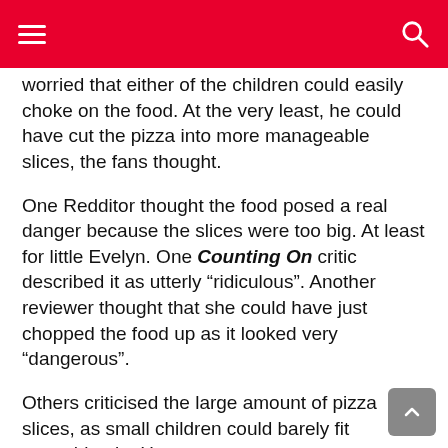worried that either of the children could easily choke on the food. At the very least, he could have cut the pizza into more manageable slices, the fans thought.
One Redditor thought the food posed a real danger because the slices were too big. At least for little Evelyn. One Counting On critic described it as utterly “riculous”. Another reviewer thought that she could have just chopped the food up as it looked very “dangerous”.
Others criticised the large amount of pizza slices, as small children could barely fit everything in. However, one commentator wrote briefly: